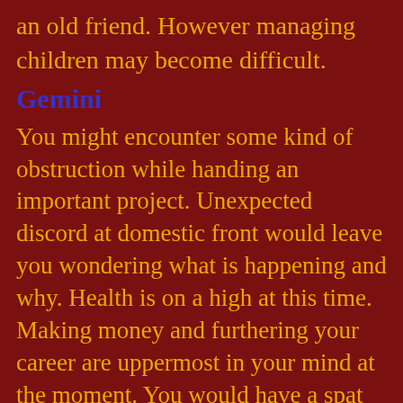an old friend. However managing children may become difficult.
Gemini
You might encounter some kind of obstruction while handing an important project. Unexpected discord at domestic front would leave you wondering what is happening and why. Health is on a high at this time. Making money and furthering your career are uppermost in your mind at the moment. You would have a spat with your spouse but this would be recovered soon.
Cancer